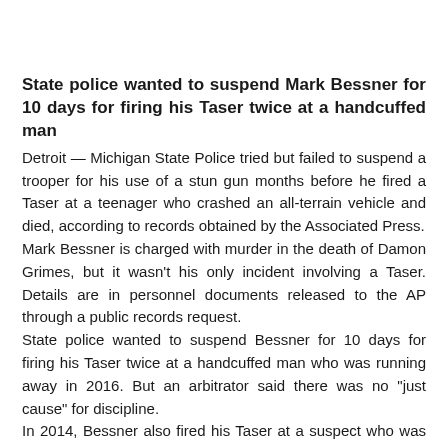State police wanted to suspend Mark Bessner for 10 days for firing his Taser twice at a handcuffed man
Detroit — Michigan State Police tried but failed to suspend a trooper for his use of a stun gun months before he fired a Taser at a teenager who crashed an all-terrain vehicle and died, according to records obtained by the Associated Press.
Mark Bessner is charged with murder in the death of Damon Grimes, but it wasn't his only incident involving a Taser. Details are in personnel documents released to the AP through a public records request.
State police wanted to suspend Bessner for 10 days for firing his Taser twice at a handcuffed man who was running away in 2016. But an arbitrator said there was no “just cause” for discipline.
In 2014, Bessner also fired his Taser at a suspect who was handcuffed during a traffic stop in Detroit. He agreed to a five-day suspension, records show, but four days were eventually dropped